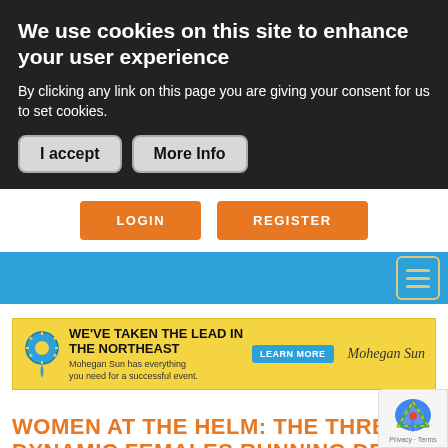We use cookies on this site to enhance your user experience
By clicking any link on this page you are giving your consent for us to set cookies.
I accept | More Info
LOGIN   REGISTER
[Figure (screenshot): Blue navigation bar with hamburger menu icon (three horizontal lines) in a gold-bordered box on the right side]
[Figure (infographic): Mohegan Sun advertisement banner with yellow background: 'WE'VE TAKEN THE LEAD IN THE NORTHEAST - Mohegan Sun has everything you need for a successful event. LEARN MORE']
WOMEN AT THE HELM: THE THREE DYNAMIC FEMALES RUNNING DETROIT HUNTINGTON PLACE